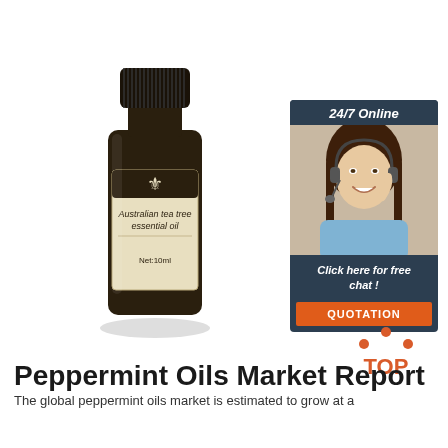[Figure (photo): A dark amber glass essential oil bottle with black ridged cap and a cream/beige label showing a fleur-de-lis emblem, text 'Australian tea tree essential oil' and 'Net:10ml']
[Figure (infographic): Customer service chat widget with dark navy background, showing '24/7 Online' header, photo of smiling woman with headset, 'Click here for free chat!' text, and orange 'QUOTATION' button]
[Figure (illustration): Orange 'TOP' icon with three orange dots arranged in an arc above the word TOP in orange bold text]
Peppermint Oils Market Report
The global peppermint oils market is estimated to grow at a